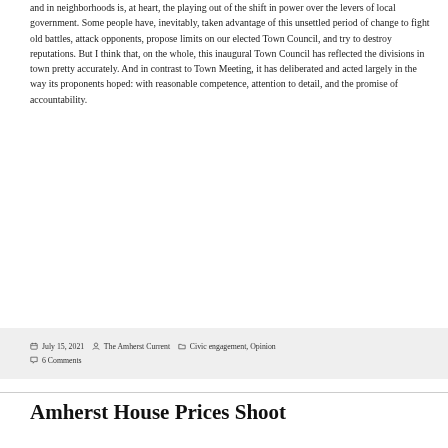and in neighborhoods is, at heart, the playing out of the shift in power over the levers of local government. Some people have, inevitably, taken advantage of this unsettled period of change to fight old battles, attack opponents, propose limits on our elected Town Council, and try to destroy reputations. But I think that, on the whole, this inaugural Town Council has reflected the divisions in town pretty accurately. And in contrast to Town Meeting, it has deliberated and acted largely in the way its proponents hoped: with reasonable competence, attention to detail, and the promise of accountability.
July 15, 2021  The Amherst Current  Civic engagement, Opinion  6 Comments
Amherst House Prices Shoot